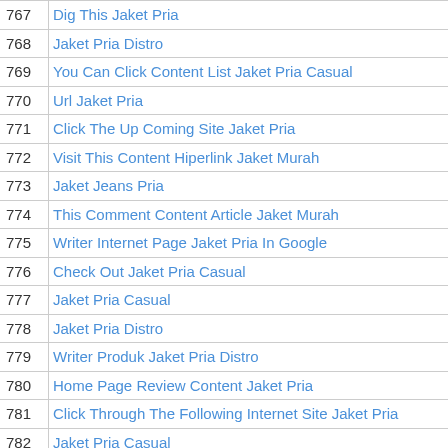| # | Title |
| --- | --- |
| 767 | Dig This Jaket Pria |
| 768 | Jaket Pria Distro |
| 769 | You Can Click Content List Jaket Pria Casual |
| 770 | Url Jaket Pria |
| 771 | Click The Up Coming Site Jaket Pria |
| 772 | Visit This Content Hiperlink Jaket Murah |
| 773 | Jaket Jeans Pria |
| 774 | This Comment Content Article Jaket Murah |
| 775 | Writer Internet Page Jaket Pria In Google |
| 776 | Check Out Jaket Pria Casual |
| 777 | Jaket Pria Casual |
| 778 | Jaket Pria Distro |
| 779 | Writer Produk Jaket Pria Distro |
| 780 | Home Page Review Content Jaket Pria |
| 781 | Click Through The Following Internet Site Jaket Pria |
| 782 | Jaket Pria Casual |
| 783 | Jaket Pria Casual |
| 784 | Jaket Pria Distro |